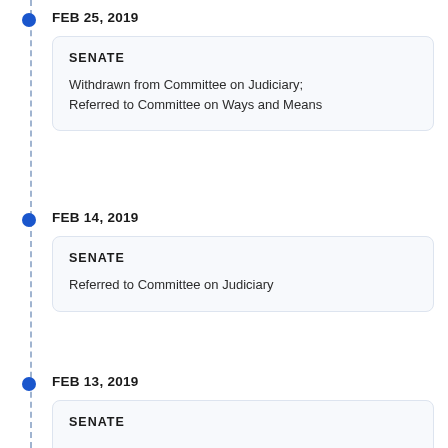FEB 25, 2019
SENATE
Withdrawn from Committee on Judiciary; Referred to Committee on Ways and Means
FEB 14, 2019
SENATE
Referred to Committee on Judiciary
FEB 13, 2019
SENATE